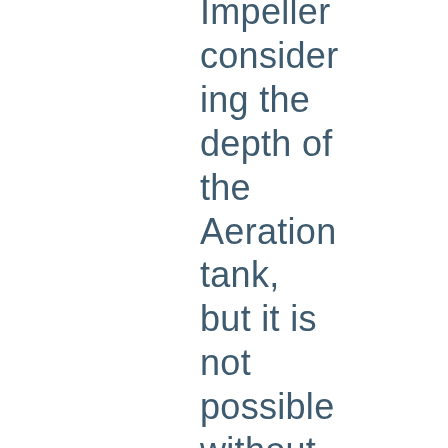Impeller considering the depth of the Aeration tank, but it is not possible without doing